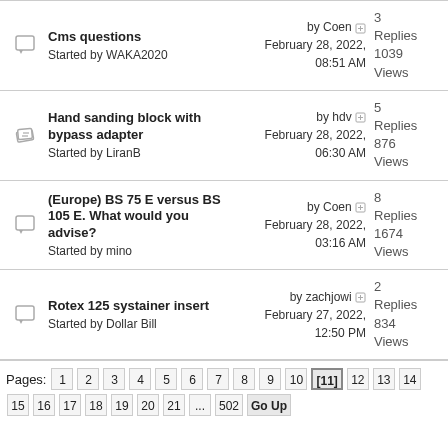Cms questions — Started by WAKA2020 — by Coen, February 28, 2022, 08:51 AM — 3 Replies 1039 Views
Hand sanding block with bypass adapter — Started by LiranB — by hdv, February 28, 2022, 06:30 AM — 5 Replies 876 Views
(Europe) BS 75 E versus BS 105 E. What would you advise? — Started by mino — by Coen, February 28, 2022, 03:16 AM — 8 Replies 1674 Views
Rotex 125 systainer insert — Started by Dollar Bill — by zachjowi, February 27, 2022, 12:50 PM — 2 Replies 834 Views
Pages: 1 2 3 4 5 6 7 8 9 10 [11] 12 13 14 15 16 17 18 19 20 21 ... 502 Go Up